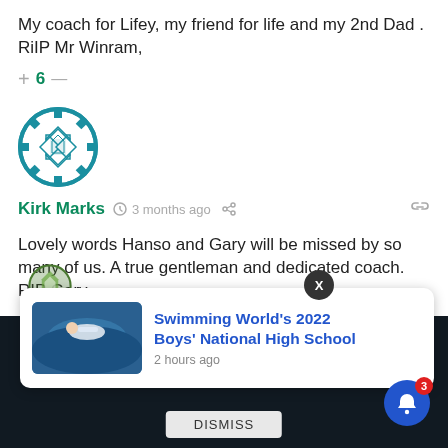My coach for Lifey, my friend for life and my 2nd Dad . RiIP Mr Winram,
+ 6 —
[Figure (illustration): Avatar with teal and white diamond/square pattern in a circle]
Kirk Marks  3 months ago
Lovely words Hanso and Gary will be missed by so many of us. A true gentleman and dedicated coach. RIP Gary.
+ 0 —
[Figure (illustration): Partial avatar with green pattern, partially visible at bottom]
[Figure (screenshot): Ad popup with swimming image and text: Swimming World's 2022 Boys' National High School, 2 hours ago. DISMISS button. X close button. AVICTOR logo and notification bell with badge 3.]